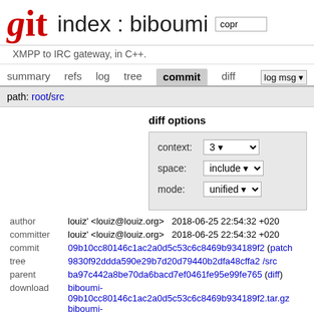git index : biboumi
XMPP to IRC gateway, in C++.
summary refs log tree commit diff
path: root/src
diff options context: 3 space: include mode: unified
| field | value |
| --- | --- |
| author | louiz' <louiz@louiz.org>   2018-06-25 22:54:32 +020 |
| committer | louiz' <louiz@louiz.org>   2018-06-25 22:54:32 +020 |
| commit | 09b10cc80146c1ac2a0d5c53c6c8469b934189f2 (patch) |
| tree | 9830f92ddda590e29b7d20d79440b2dfa48cffa2 /src |
| parent | ba97c442a8be70da6bacd7ef0461fe95e99fe765 (diff) |
| download | biboumi-09b10cc80146c1ac2a0d5c53c6c8469b934189f2.tar.gz biboumi-09b10cc80146c1ac2a0d5c53c6c8469b934189f2.tar.bz |